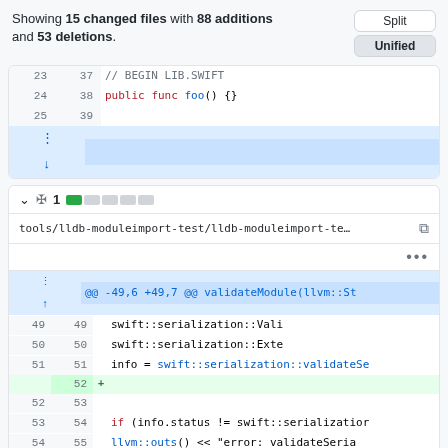Showing 15 changed files with 88 additions and 53 deletions.
[Figure (screenshot): GitHub diff view showing code changes in a Swift file with line numbers, unified/split view buttons, and two diff panels.]
tools/lldb-moduleimport-test/lldb-moduleimport-te…
@@ -49,6 +49,7 @@ validateModule(llvm::St
swift::serialization::Vali
swift::serialization::Exte
info = swift::serialization::validateSe
+ (added line)
if (info.status != swift::serializatior
llvm::outs() << "error: validateSeria